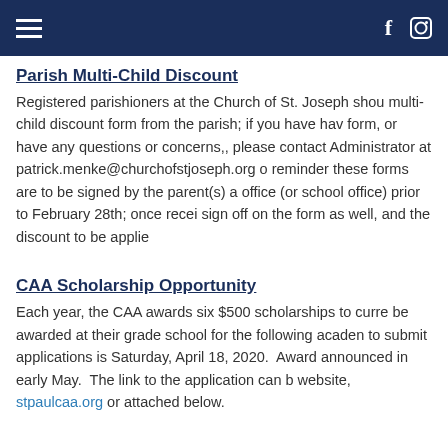Navigation bar with hamburger menu, Facebook and Instagram icons
Parish Multi-Child Discount
Registered parishioners at the Church of St. Joseph shou multi-child discount form from the parish; if you have hav form, or have any questions or concerns,, please contact Administrator at patrick.menke@churchofstjoseph.org o reminder these forms are to be signed by the parent(s) a office (or school office) prior to February 28th; once recei sign off on the form as well, and the discount to be applie
CAA Scholarship Opportunity
Each year, the CAA awards six $500 scholarships to curre be awarded at their grade school for the following acaden to submit applications is Saturday, April 18, 2020.  Award announced in early May.  The link to the application can b website, stpaulcaa.org or attached below.